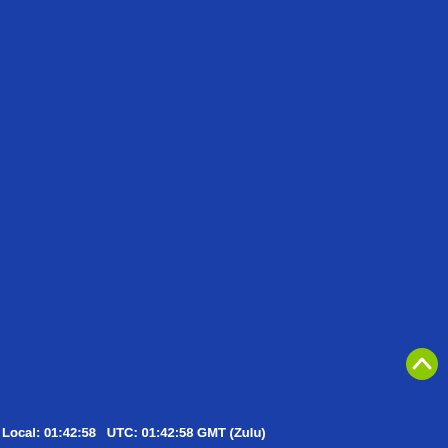Saturday 20 August 2022
[Figure (screenshot): Solid blue background fill covering the majority of the page, resembling a webcam or display screenshot with no visible content except overlaid text and a scroll-up button.]
Local: 01:42:58   UTC: 01:42:58 GMT (Zulu)